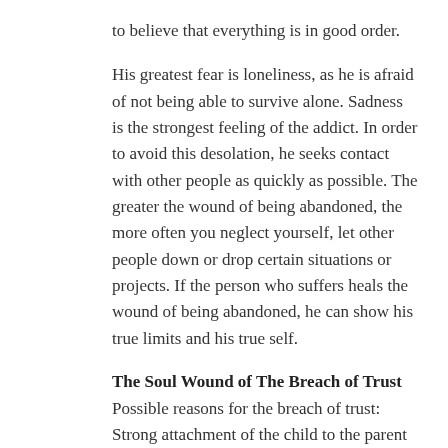to believe that everything is in good order.
His greatest fear is loneliness, as he is afraid of not being able to survive alone. Sadness is the strongest feeling of the addict. In order to avoid this desolation, he seeks contact with other people as quickly as possible. The greater the wound of being abandoned, the more often you neglect yourself, let other people down or drop certain situations or projects. If the person who suffers heals the wound of being abandoned, he can show his true limits and his true self.
The Soul Wound of The Breach of Trust
Possible reasons for the breach of trust: Strong attachment of the child to the parent of